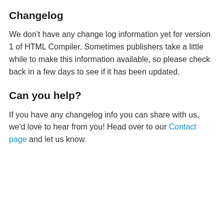Changelog
We don't have any change log information yet for version 1 of HTML Compiler. Sometimes publishers take a little while to make this information available, so please check back in a few days to see if it has been updated.
Can you help?
If you have any changelog info you can share with us, we'd love to hear from you! Head over to our Contact page and let us know.